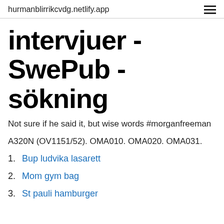hurmanblirrikcvdg.netlify.app
intervjuer - SwePub - sökning
Not sure if he said it, but wise words #morganfreeman
A320N (OV1151/52). OMA010. OMA020. OMA031.
Bup ludvika lasarett
Mom gym bag
St pauli hamburger